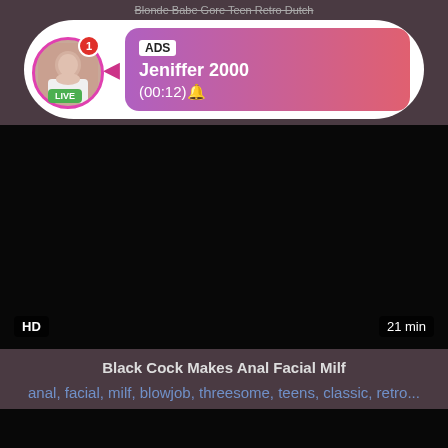Blonde Babe Gore Teen Retro Dutch
[Figure (other): Ad overlay with avatar, LIVE badge, notification badge, arrow, and pink/purple gradient ad card showing 'ADS', 'Jeniffer 2000', '(00:12)' text]
[Figure (other): Dark/black video thumbnail with HD badge bottom-left and '21 min' duration badge bottom-right]
Black Cock Makes Anal Facial Milf
anal, facial, milf, blowjob, threesome, teens, classic, retro...
[Figure (other): Second dark/black video thumbnail, partially visible at bottom of page]